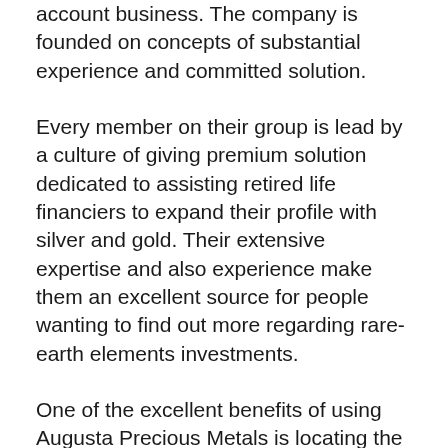account business. The company is founded on concepts of substantial experience and committed solution.
Every member on their group is lead by a culture of giving premium solution dedicated to assisting retired life financiers to expand their profile with silver and gold. Their extensive expertise and also experience make them an excellent source for people wanting to find out more regarding rare-earth elements investments.
One of the excellent benefits of using Augusta Precious Metals is locating the most effective consumer assistance in the industry. They uphold 3 major commitments: Simplicity, complete openness, and